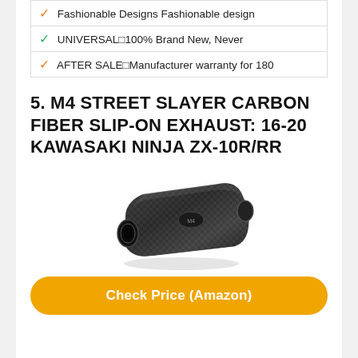| Fashionable Designs Fashionable design |
| UNIVERSAL□100% Brand New, Never |
| AFTER SALE□Manufacturer warranty for 180 |
5. M4 STREET SLAYER CARBON FIBER SLIP-ON EXHAUST: 16-20 KAWASAKI NINJA ZX-10R/RR
[Figure (photo): Carbon fiber slip-on exhaust muffler, black woven carbon fiber finish, viewed from a rear angle showing the outlet tip.]
Check Price (Amazon)